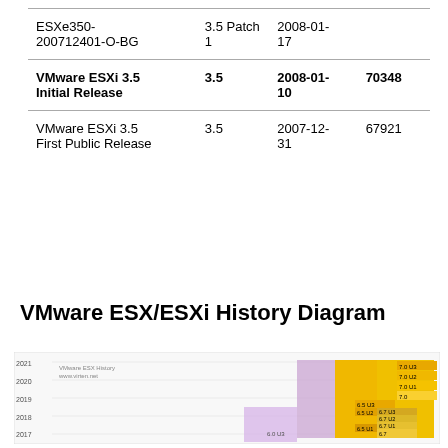| Name | Version | Release Date | Build |
| --- | --- | --- | --- |
| ESXe350-200712401-O-BG | 3.5 Patch 1 | 2008-01-17 |  |
| VMware ESXi 3.5 Initial Release | 3.5 | 2008-01-10 | 70348 |
| VMware ESXi 3.5 First Public Release | 3.5 | 2007-12-31 | 67921 |
VMware ESX/ESXi History Diagram
[Figure (other): VMware ESX History diagram from www.virten.net showing ESX/ESXi version history from 2017 to 2021, with colored bars for different versions including 6.5, 6.7, and 7.0 series]